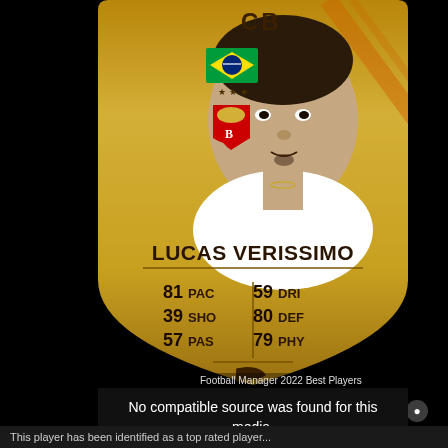[Figure (other): FIFA Ultimate Team player card for Lucas Verissimo, a CB (Center Back) from Brazil playing for Benfica. Card shows gold gradient background, player photo, Brazilian flag, club badge, player name, and stats: PAC 81, SHO 39, PAS 57, DRI 59, DEF 80, PHY 79. Below the card is a video error message: 'No compatible source was found for this media.' with a Football Manager 2022 Best Players watermark.]